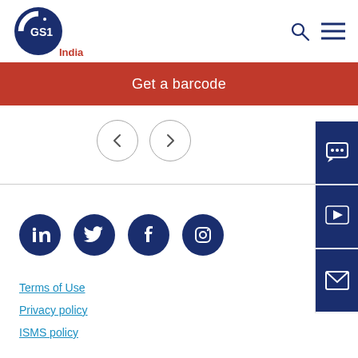[Figure (logo): GS1 India logo with blue circular mark and India text in red]
Get a barcode
[Figure (other): Previous and next navigation arrow buttons (circle outlines with < and > chevrons)]
[Figure (other): Right sidebar with chat, video play, and email icons on dark blue background]
[Figure (other): Social media icons: LinkedIn, Twitter, Facebook, Instagram on dark blue circles]
Terms of Use
Privacy policy
ISMS policy